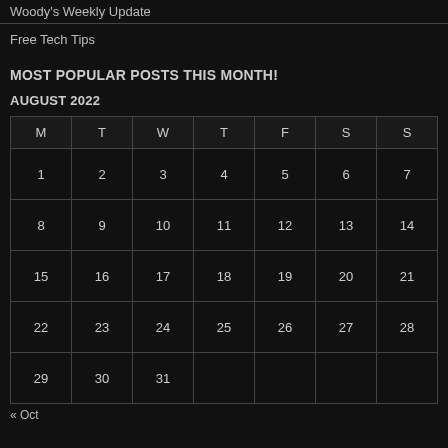Woody's Weekly Update
Free Tech Tips
MOST POPULAR POSTS THIS MONTH!
AUGUST 2022
| M | T | W | T | F | S | S |
| --- | --- | --- | --- | --- | --- | --- |
| 1 | 2 | 3 | 4 | 5 | 6 | 7 |
| 8 | 9 | 10 | 11 | 12 | 13 | 14 |
| 15 | 16 | 17 | 18 | 19 | 20 | 21 |
| 22 | 23 | 24 | 25 | 26 | 27 | 28 |
| 29 | 30 | 31 |  |  |  |  |
« Oct